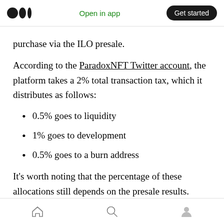Open in app | Get started
purchase via the ILO presale.
According to the ParadoxNFT Twitter account, the platform takes a 2% total transaction tax, which it distributes as follows:
0.5% goes to liquidity
1% goes to development
0.5% goes to a burn address
It's worth noting that the percentage of these allocations still depends on the presale results.
Home | Search | Profile